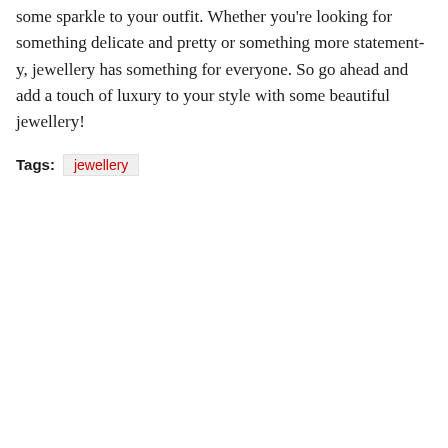some sparkle to your outfit. Whether you're looking for something delicate and pretty or something more statement-y, jewellery has something for everyone. So go ahead and add a touch of luxury to your style with some beautiful jewellery!
Tags: jewellery